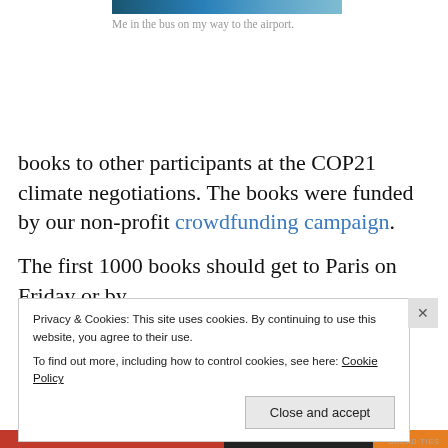[Figure (photo): Partial image at top of page, appears to be a bus or vehicle interior in blue tones]
Me in the bus on my way to the airport.
books to other participants at the COP21 climate negotiations. The books were funded by our non-profit crowdfunding campaign.
The first 1000 books should get to Paris on Friday or by
Privacy & Cookies: This site uses cookies. By continuing to use this website, you agree to their use.
To find out more, including how to control cookies, see here: Cookie Policy
Close and accept